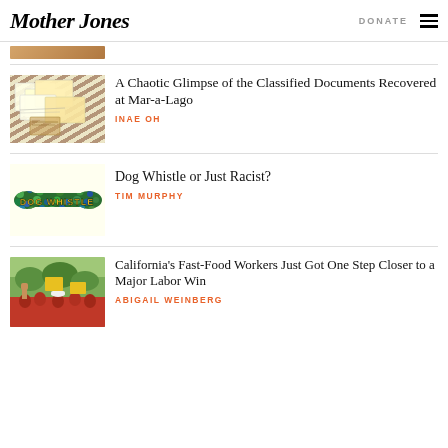Mother Jones | DONATE
[Figure (photo): Partial thumbnail of an image at top of page (cropped)]
A Chaotic Glimpse of the Classified Documents Recovered at Mar-a-Lago
INAE OH
[Figure (photo): Dog Whistle book cover/illustration on light yellow background with colorful patterned dog bone shape and text DOG WHISTLE]
Dog Whistle or Just Racist?
TIM MURPHY
[Figure (photo): Protest photo showing workers in red shirts raising fist with yellow signs]
California’s Fast-Food Workers Just Got One Step Closer to a Major Labor Win
ABIGAIL WEINBERG